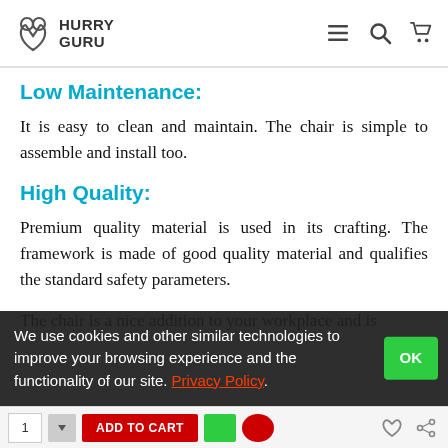HURRY GURU
Low Maintenance:
It is easy to clean and maintain. The chair is simple to assemble and install too.
High Quality:
Premium quality material is used in its crafting. The framework is made of good quality material and qualifies the standard safety parameters.
The chair is a nice addition to your workplace and is suitable for homes and offices. Moreover, it saves minimum space and is a nice addition to your site functionality on its own...
We use cookies and other similar technologies to improve your browsing experience and the functionality of our site. Privacy Policy.